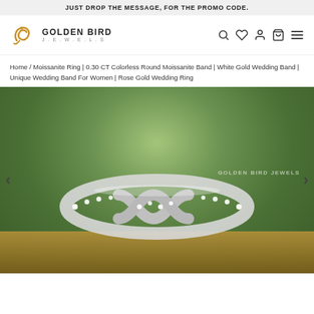JUST DROP THE MESSAGE, FOR THE PROMO CODE.
[Figure (logo): Golden Bird Jewels logo with bird icon and brand name]
Home / Moissanite Ring | 0.30 CT Colorless Round Moissanite Band | White Gold Wedding Band | Unique Wedding Band For Women | Rose Gold Wedding Ring
[Figure (photo): Close-up photo of a twisted moissanite wedding band ring with small round stones set in white/rose gold, placed on a wooden surface with green blurred background. Watermark reads GOLDEN BIRD JEWELS.]